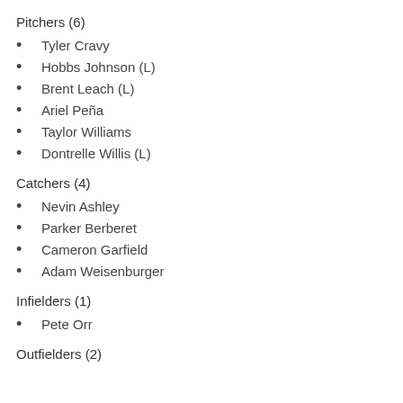Pitchers (6)
Tyler Cravy
Hobbs Johnson (L)
Brent Leach (L)
Ariel Peña
Taylor Williams
Dontrelle Willis (L)
Catchers (4)
Nevin Ashley
Parker Berberet
Cameron Garfield
Adam Weisenburger
Infielders (1)
Pete Orr
Outfielders (2)